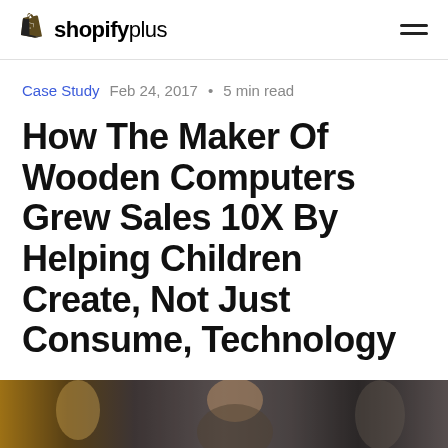shopifyplus
Case Study   Feb 24, 2017 • 5 min read
How The Maker Of Wooden Computers Grew Sales 10X By Helping Children Create, Not Just Consume, Technology
by Nick Winkler
[Figure (photo): Partial photo strip at the bottom of the page showing a person, cropped]